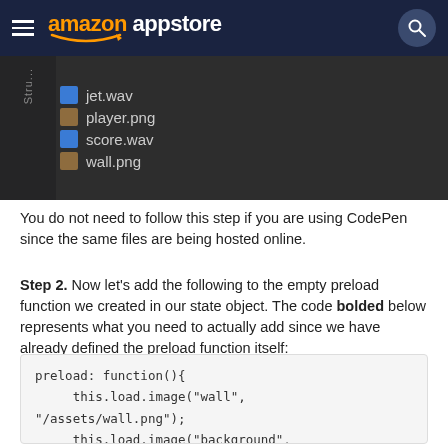amazon appstore
[Figure (screenshot): IDE file tree showing jet.wav, player.png, score.wav, wall.png files in a dark-themed editor sidebar]
You do not need to follow this step if you are using CodePen since the same files are being hosted online.
Step 2. Now let's add the following to the empty preload function we created in our state object. The code bolded below represents what you need to actually add since we have already defined the preload function itself:
preload: function(){
     this.load.image("wall",
"/assets/wall.png");
     this.load.image("background",
"/assets/background-texture.png");
}